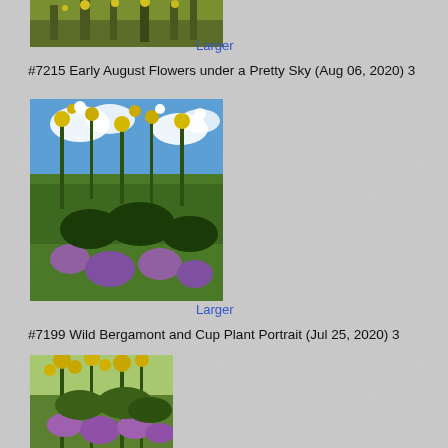[Figure (photo): Yellow wildflowers against a background, partially cropped at top]
Larger
#7215 Early August Flowers under a Pretty Sky (Aug 06, 2020) 3
[Figure (photo): Wildflowers including yellow and purple blooms under a blue sky with clouds]
Larger
#7199 Wild Bergamont and Cup Plant Portrait (Jul 25, 2020) 3
[Figure (photo): Tall wildflowers with yellow blooms and purple bergamot flowers below]